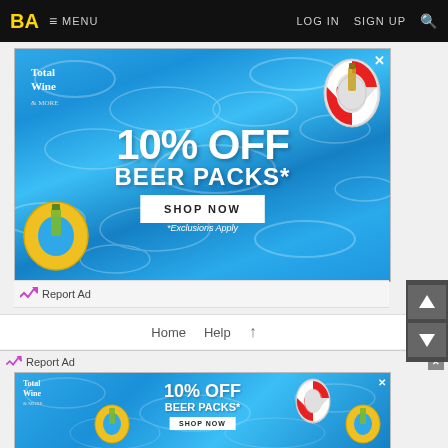BA  ≡ MENU   LOG IN   SIGN UP  🔍
[Figure (photo): Total Wine & More advertisement banner showing 10% OFF BEER PACKS* with SHOP NOW button over a blue swimming pool water background with a yellow inflatable ring and red/white life preserver]
Report Ad
Home   Help   ↑
Report Ad
[Figure (photo): Smaller Total Wine & More advertisement banner showing 10% OFF BEER PACKS with SHOP NOW button over blue pool water background]